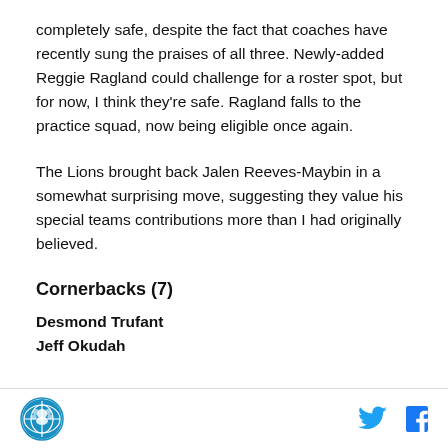completely safe, despite the fact that coaches have recently sung the praises of all three. Newly-added Reggie Ragland could challenge for a roster spot, but for now, I think they're safe. Ragland falls to the practice squad, now being eligible once again.
The Lions brought back Jalen Reeves-Maybin in a somewhat surprising move, suggesting they value his special teams contributions more than I had originally believed.
Cornerbacks (7)
Desmond Trufant
Jeff Okudah